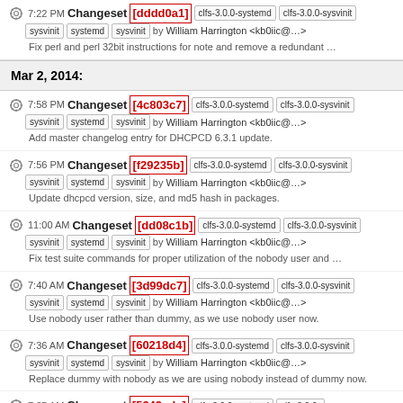7:22 PM Changeset [dddd0a1] clfs-3.0.0-systemd clfs-3.0.0-sysvinit systemd sysvinit by William Harrington <kb0iic@...> Fix perl and perl 32bit instructions for note and remove a redundant ...
Mar 2, 2014:
7:58 PM Changeset [4c803c7] clfs-3.0.0-systemd clfs-3.0.0-sysvinit systemd sysvinit by William Harrington <kb0iic@...> Add master changelog entry for DHCPCD 6.3.1 update.
7:56 PM Changeset [f29235b] clfs-3.0.0-systemd clfs-3.0.0-sysvinit systemd sysvinit by William Harrington <kb0iic@...> Update dhcpcd version, size, and md5 hash in packages.
11:00 AM Changeset [dd08c1b] clfs-3.0.0-systemd clfs-3.0.0-sysvinit systemd sysvinit by William Harrington <kb0iic@...> Fix test suite commands for proper utilization of the nobody user and ...
7:40 AM Changeset [3d99dc7] clfs-3.0.0-systemd clfs-3.0.0-sysvinit systemd sysvinit by William Harrington <kb0iic@...> Use nobody user rather than dummy, as we use nobody user now.
7:36 AM Changeset [60218d4] clfs-3.0.0-systemd clfs-3.0.0-sysvinit systemd sysvinit by William Harrington <kb0iic@...> Replace dummy with nobody as we are using nobody instead of dummy now.
7:35 AM Changeset [5342ade] clfs-3.0.0-systemd clfs-3.0.0-